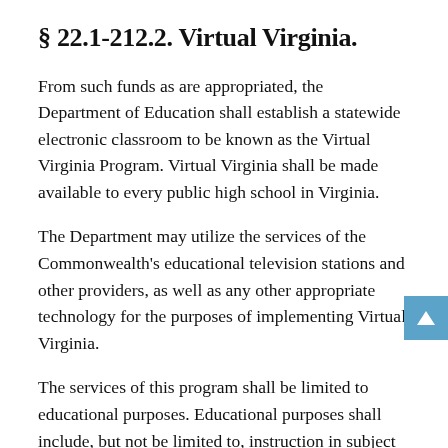§ 22.1-212.2. Virtual Virginia.
From such funds as are appropriated, the Department of Education shall establish a statewide electronic classroom to be known as the Virtual Virginia Program. Virtual Virginia shall be made available to every public high school in Virginia.
The Department may utilize the services of the Commonwealth's educational television stations and other providers, as well as any other appropriate technology for the purposes of implementing Virtual Virginia.
The services of this program shall be limited to educational purposes. Educational purposes shall include, but not be limited to, instruction in subject areas that are not available in all schools and in-service training for instructional, administrative and support personnel.
The Department may contract with one or more local